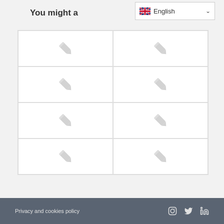You might also like
[Figure (screenshot): Language selector dropdown showing English with UK flag]
[Figure (illustration): 2x4 grid of placeholder cards, each showing a pencil/edit icon]
Privacy and cookies policy